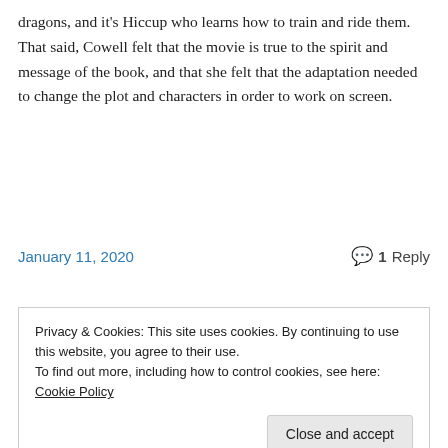dragons, and it's Hiccup who learns how to train and ride them. That said, Cowell felt that the movie is true to the spirit and message of the book, and that she felt that the adaptation needed to change the plot and characters in order to work on screen.
Continue reading →
January 11, 2020   💬 1 Reply
Privacy & Cookies: This site uses cookies. By continuing to use this website, you agree to their use.
To find out more, including how to control cookies, see here: Cookie Policy
Close and accept